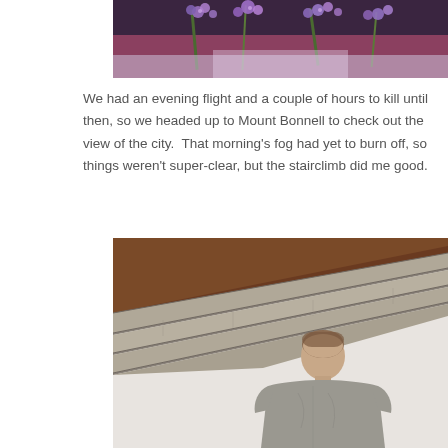[Figure (photo): Partial photo of purple flowers and foliage against a brick wall background, cropped at top]
We had an evening flight and a couple of hours to kill until then, so we headed up to Mount Bonnell to check out the view of the city.  That morning's fog had yet to burn off, so things weren't super-clear, but the stairclimb did me good.
[Figure (photo): A man in a grey t-shirt seen from behind, standing at the base of wooden steps/staircase made of weathered grey timber planks with a brown wooden beam overhead]